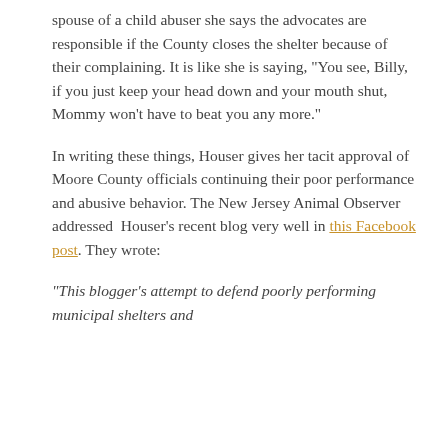spouse of a child abuser she says the advocates are responsible if the County closes the shelter because of their complaining. It is like she is saying, "You see, Billy, if you just keep your head down and your mouth shut, Mommy won't have to beat you any more."
In writing these things, Houser gives her tacit approval of Moore County officials continuing their poor performance and abusive behavior. The New Jersey Animal Observer addressed Houser's recent blog very well in this Facebook post. They wrote:
"This blogger's attempt to defend poorly performing municipal shelters and